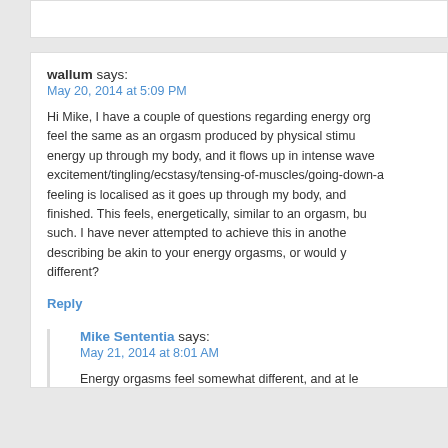wallum says:
May 20, 2014 at 5:09 PM
Hi Mike, I have a couple of questions regarding energy orgasms. Does an energy orgasm feel the same as an orgasm produced by physical stimulation? My experience is that I feel energy up through my body, and it flows up in intense waves, accompanied by feelings of excitement/tingling/ecstasy/tensing-of-muscles/going-down-a-roller-coaster. The feeling is localised as it goes up through my body, and when I get to my head it feels finished. This feels, energetically, similar to an orgasm, but I have not identified it as such. I have never attempted to achieve this in another person. Would what I am describing be akin to your energy orgasms, or would you say they are completely different?
Reply
Mike Sententia says:
May 21, 2014 at 8:01 AM
Energy orgasms feel somewhat different, and at least for me aren't associated with ejaculation. What you're describing sou
Reply